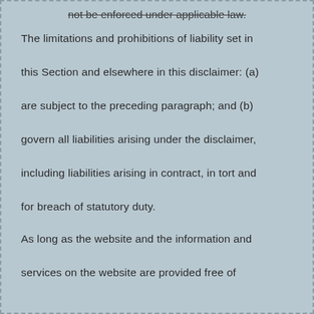not be enforced under applicable law.
The limitations and prohibitions of liability set in this Section and elsewhere in this disclaimer: (a) are subject to the preceding paragraph; and (b) govern all liabilities arising under the disclaimer, including liabilities arising in contract, in tort and for breach of statutory duty.
As long as the website and the information and services on the website are provided free of